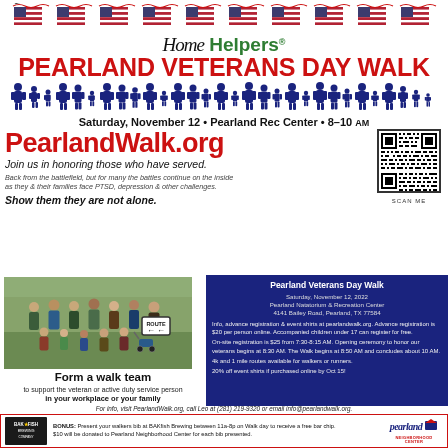[Figure (illustration): Row of American flag emoji/icons across the top]
[Figure (logo): Home Helpers logo with cursive Home and green Helpers text]
PEARLAND VETERANS DAY WALK
[Figure (illustration): Row of blue silhouettes of people of various sizes]
Saturday, November 12 • Pearland Rec Center • 8–10 AM
PearlandWalk.org
Join us in honoring those who have served.
Back from the battlefield, but for many the battles continue on the inside as they & their families face PTSD, depression & other challenges.
Show them they are not alone.
[Figure (photo): Group photo of walk participants outdoors with a Route sign]
Form a walk team
to support the veteran or active duty service person
in your workplace or your family
Pearland Veterans Day Walk
Saturday, November 12, 2022
Pearland Natatorium & Recreation Center
4141 Bailey Road, Pearland, TX 77584

Info, advance registration & event shirts at pearlandwalk.org. Advance registration is $20 per person online. Accompanied children under 17 can register for free.

On-site registration is $25 from 7:30-8:15 AM. Opening ceremony to honor our veterans begins at 8:30 AM. The Walk begins at 8:50 AM and concludes about 10 AM.

4k and 1 mile routes available for walkers or runners.

20% off event shirts if purchased online by Oct 15!
[Figure (other): QR code with SCAN ME label]
For info, visit PearlandWalk.org, call Leo at (281) 219-9320 or email info@pearlandwalk.org.
BONUS: Present your walkers bib at BAKfish Brewing between 11a-8p on Walk day to receive a free bar chip. $10 will be donated to Pearland Neighborhood Center for each bib presented.